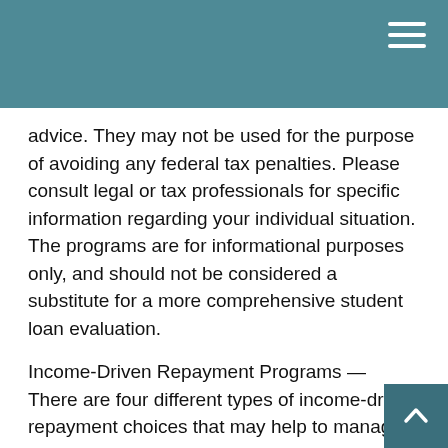advice. They may not be used for the purpose of avoiding any federal tax penalties. Please consult legal or tax professionals for specific information regarding your individual situation. The programs are for informational purposes only, and should not be considered a substitute for a more comprehensive student loan evaluation.
Income-Driven Repayment Programs — There are four different types of income-driven repayment choices that may help to manage your monthly federal student loan payments:1
Revised Pay As You Earn Repayment Plan (REPAYE Plan)
Pay As You Earn Repayment Plan (PAYE Plan)
Income-Based Repayment Plan (IBR Plan)
Income-Contingent Repayment Plan (ICR Plan)